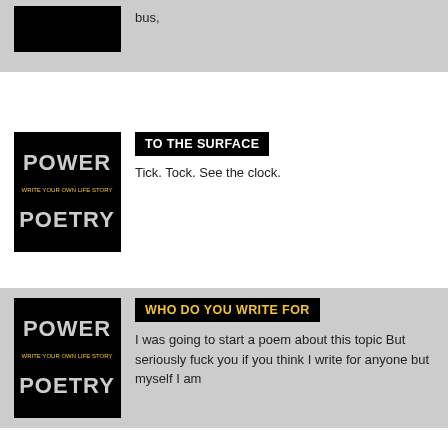bus,
TO THE SURFACE
Tick. Tock. See the clock.
WHO DO YOU WRITE FOR
I was going to start a poem about this topic But seriously fuck you if you think I write for anyone but myself I am
TO SPEAK OF MINDS
Mighty is the mind that gives voice to the soul;